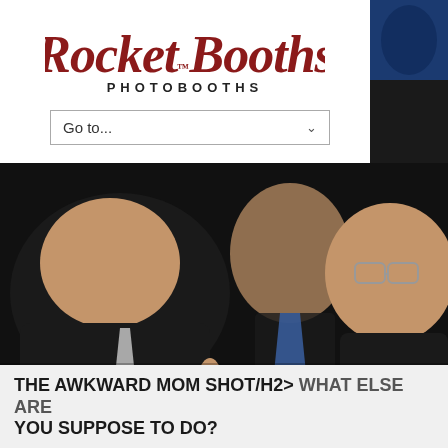[Figure (logo): Rocket Booths Photobooths logo with stylized red script lettering and bold uppercase subtitle]
Go to...
[Figure (photo): Photo booth image of people making funny faces, one person extending hand toward camera]
THE AWKWARD MOM SHOT/H2> WHAT ELSE ARE YOU SUPPOSE TO DO?